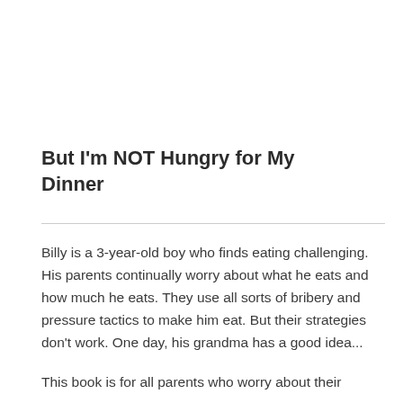But I'm NOT Hungry for My Dinner
Billy is a 3-year-old boy who finds eating challenging. His parents continually worry about what he eats and how much he eats. They use all sorts of bribery and pressure tactics to make him eat. But their strategies don't work. One day, his grandma has a good idea...
This book is for all parents who worry about their